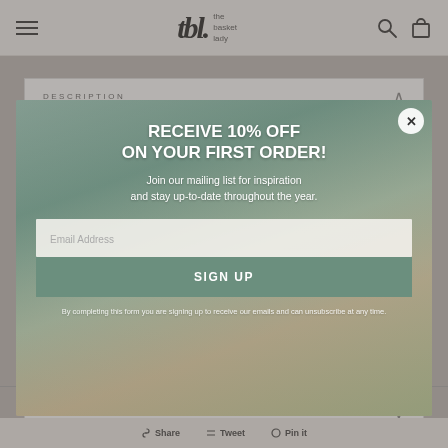tbl. the basket lady — navigation, search, and cart icons
DESCRIPTION
[Figure (screenshot): Modal popup overlay on top of a product page showing a room with baskets. Modal has a dark teal/sage background room scene behind it. Contains promotional offer text, email signup field, and sign up button.]
RECEIVE 10% OFF ON YOUR FIRST ORDER!
Join our mailing list for inspiration and stay up-to-date throughout the year.
Email Address
SIGN UP
By completing this form you are signing up to receive our emails and can unsubscribe at any time.
ADDITIONAL INFO
Share   Tweet   Pin it